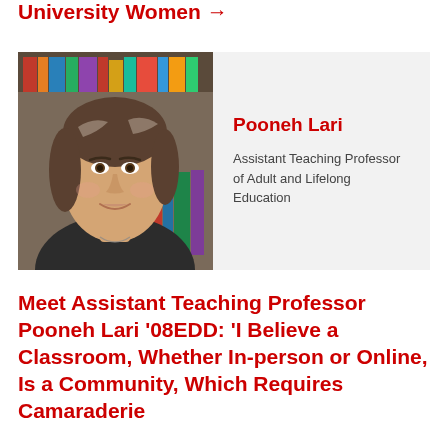University Women →
[Figure (photo): Portrait photo of Pooneh Lari, a woman with dark hair with grey highlights, smiling, in front of a bookshelf]
Pooneh Lari
Assistant Teaching Professor of Adult and Lifelong Education
Meet Assistant Teaching Professor Pooneh Lari '08EDD: 'I Believe a Classroom, Whether In-person or Online, Is a Community, Which Requires Camaraderie